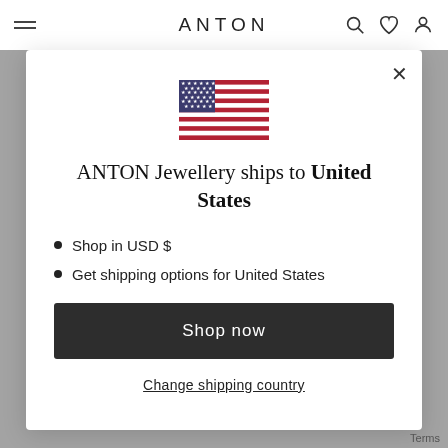ANTON
[Figure (illustration): US flag emoji/illustration]
ANTON Jewellery ships to United States
Shop in USD $
Get shipping options for United States
Shop now
Change shipping country